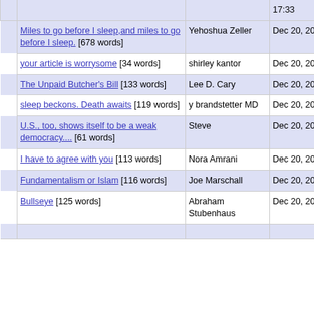|  | Title | Author | Date |
| --- | --- | --- | --- |
|  | Miles to go before I sleep,and miles to go before I sleep. [678 words] | Yehoshua Zeller | Dec 20, 2005 17:36 |
|  | your article is worrysome [34 words] | shirley kantor | Dec 20, 2005 17:35 |
|  | The Unpaid Butcher's Bill [133 words] | Lee D. Cary | Dec 20, 2005 17:16 |
|  | sleep beckons. Death awaits [119 words] | y brandstetter MD | Dec 20, 2005 16:50 |
|  | U.S., too, shows itself to be a weak democracy.... [61 words] | Steve | Dec 20, 2005 16:39 |
|  | I have to agree with you [113 words] | Nora Amrani | Dec 20, 2005 16:36 |
|  | Fundamentalism or Islam [116 words] | Joe Marschall | Dec 20, 2005 16:30 |
|  | Bullseye [125 words] | Abraham Stubenhaus | Dec 20, 2005 16:26 |